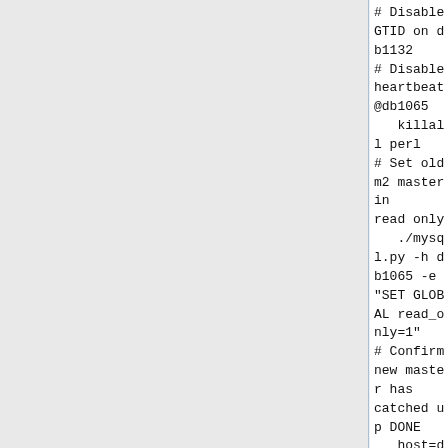# Disable GTID on db1132
# Disable heartbeat
@db1065
   killall perl
# Set old m2 master in read only
   ./mysql.py -h db1065 -e "SET GLOBAL read_only=1"
# Confirm new master has catched up DONE
   host=db1065 echo "== $host =="; ./mysql.py -h $host -e "show master status\G show slave status\G" | grep ' File:\|Position:\|Relay_Master_Log_File:\|Exec\_Master\_Log\_Pos:'; host=db1132; echo "== $host =="; ./mysql.py -h $host -e "select @@hostname; show master status\G show slave status\G" | grep ' File:\|Position:\|Relay_Master_Log_File:\|Exec\_Master\_Log